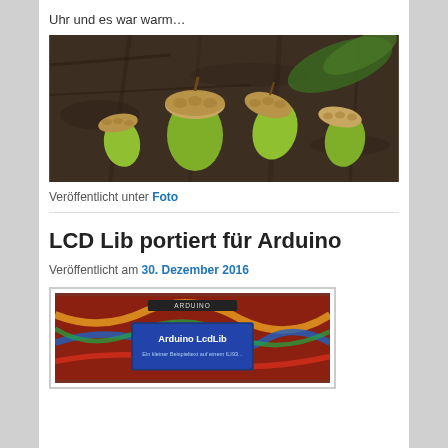Uhr und es war warm…
[Figure (photo): Close-up photo of green acorns on a dark textured bark/ground surface]
Veröffentlicht unter Foto
LCD Lib portiert für Arduino
Veröffentlicht am 30. Dezember 2016
[Figure (photo): Photo of an Arduino LCD screen displaying 'Arduino LcdLib' with subtitle text, with colorful wires around it]